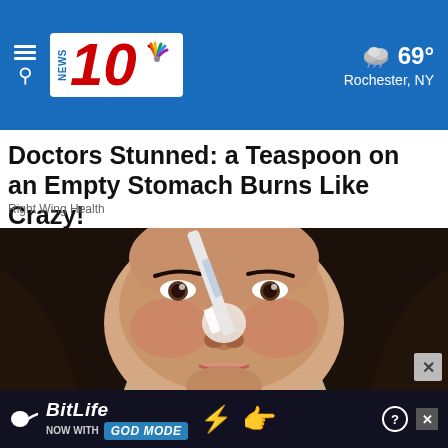NEWS 10 | 69° Rochester, NY
Doctors Stunned: a Teaspoon on an Empty Stomach Burns Like Crazy!
Right Wing Health
[Figure (photo): Close-up of a woman applying white cream to her nose with a brush or applicator tool, dark hair, neutral background]
BitLife NOW WITH GOD MODE